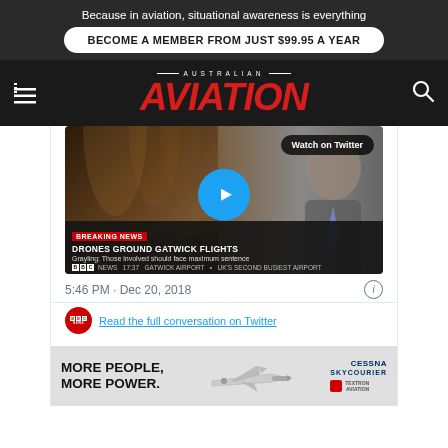Because in aviation, situational awareness is everything
BECOME A MEMBER FROM JUST $99.95 A YEAR
AUSTRALIAN AVIATION
[Figure (screenshot): BBC News video embed showing a man being interviewed in a Gothic-arched corridor with a play button overlay and 'Watch on Twitter' badge. Breaking news ticker at bottom reads: 'BREAKING NEWS / DRONES GROUND GATWICK FLIGHTS / Grayling: Those involved should face maximum sentence / BBC NEWS 17:37 GATWICK AIRPORT UK'S SECOND BUSIEST AIRPORT']
5:46 PM · Dec 20, 2018
Read the full conversation on Twitter
[Figure (photo): Cessna SkyCourier advertisement banner: MORE PEOPLE, MORE POWER. with aircraft image and Cessna SkyCourier logo]